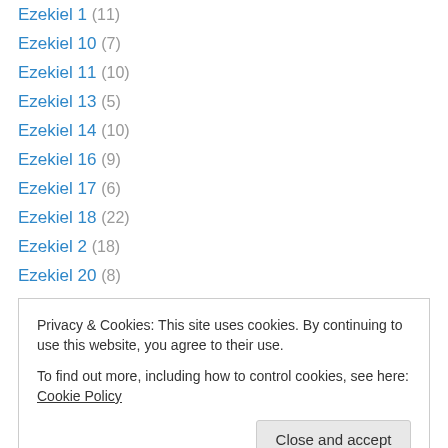Ezekiel 1 (11)
Ezekiel 10 (7)
Ezekiel 11 (10)
Ezekiel 13 (5)
Ezekiel 14 (10)
Ezekiel 16 (9)
Ezekiel 17 (6)
Ezekiel 18 (22)
Ezekiel 2 (18)
Ezekiel 20 (8)
Ezekiel 21 (5)
Ezekiel 22 (7)
Ezekiel 25 (19)
Ezekiel 26 (6) [partially visible]
Privacy & Cookies: This site uses cookies. By continuing to use this website, you agree to their use. To find out more, including how to control cookies, see here: Cookie Policy
Ezekiel 31 (10)